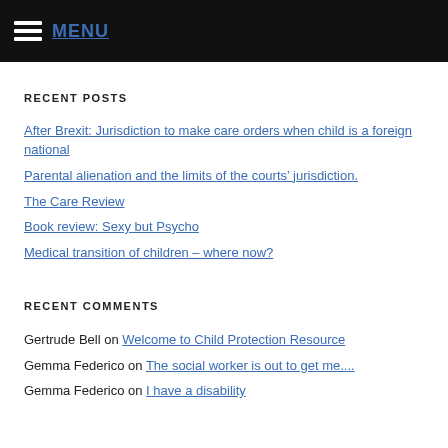MENU
RECENT POSTS
After Brexit: Jurisdiction to make care orders when child is a foreign national
Parental alienation and the limits of the courts’ jurisdiction.
The Care Review
Book review: Sexy but Psycho
Medical transition of children – where now?
RECENT COMMENTS
Gertrude Bell on Welcome to Child Protection Resource
Gemma Federico on The social worker is out to get me....
Gemma Federico on I have a disability